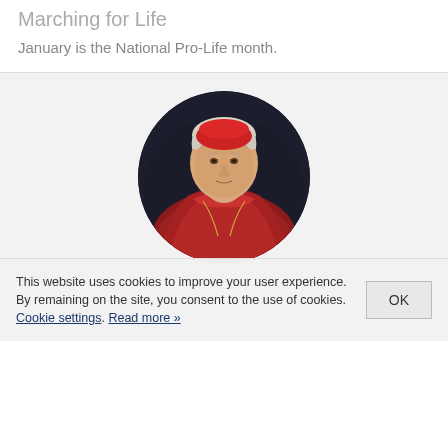Marching for Life
January is the National Pro-Life month.
[Figure (illustration): Circular portrait painting of an elderly Catholic cardinal with white hair wearing red cardinal robes and a red zucchetto, painted in a classical style against a dark background.]
This website uses cookies to improve your user experience. By remaining on the site, you consent to the use of cookies. Cookie settings. Read more »